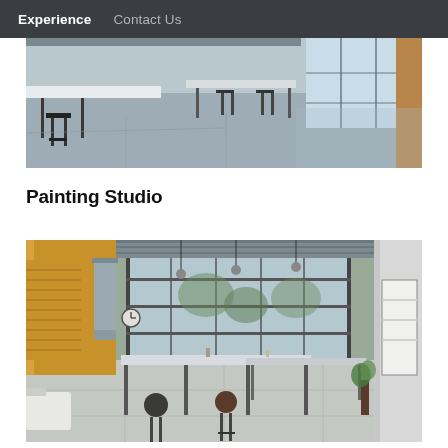Experience   Contact Us
[Figure (photo): Interior of a large open studio/workshop space with polished concrete floors, long white tables, bar stools, and large windows/garage doors in the background letting in natural light.]
Painting Studio
[Figure (photo): Interior of a painting studio with high ceilings, exposed metal ductwork, wood-paneled walls, large floor-to-ceiling glass garage doors open to trees outside, long work tables with bar stools, hanging industrial pendant lights, and a canvas on the wall.]